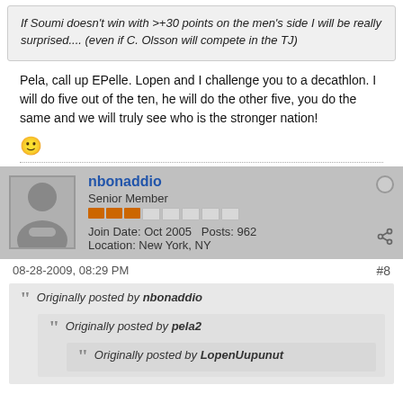If Soumi doesn't win with >+30 points on the men's side I will be really surprised.... (even if C. Olsson will compete in the TJ)
Pela, call up EPelle. Lopen and I challenge you to a decathlon. I will do five out of the ten, he will do the other five, you do the same and we will truly see who is the stronger nation!
nbonaddio - Senior Member - Join Date: Oct 2005  Posts: 962  Location: New York, NY
08-28-2009, 08:29 PM  #8
Originally posted by nbonaddio
Originally posted by pela2
Originally posted by LopenUupunut